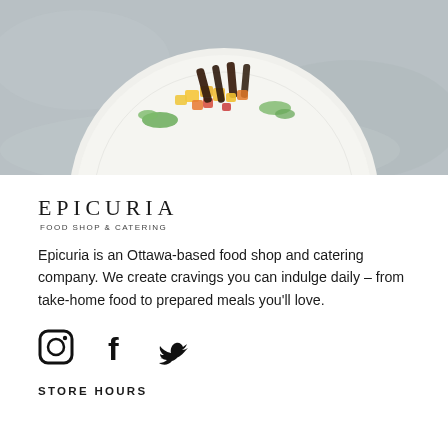[Figure (photo): Top-down photograph of a white textured plate on a gray stone surface, with a colorful dish featuring grilled meat or vegetables, diced mango/pepper salsa, and microgreens garnish.]
EPICURIA
FOOD SHOP & CATERING
Epicuria is an Ottawa-based food shop and catering company. We create cravings you can indulge daily – from take-home food to prepared meals you'll love.
[Figure (infographic): Social media icons: Instagram, Facebook, Twitter]
STORE HOURS